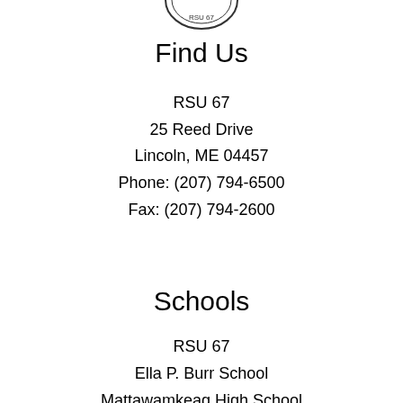[Figure (logo): Circular logo/seal at top of page]
Find Us
RSU 67
25 Reed Drive
Lincoln, ME 04457
Phone: (207) 794-6500
Fax: (207) 794-2600
Schools
RSU 67
Ella P. Burr School
Mattawamkeag High School